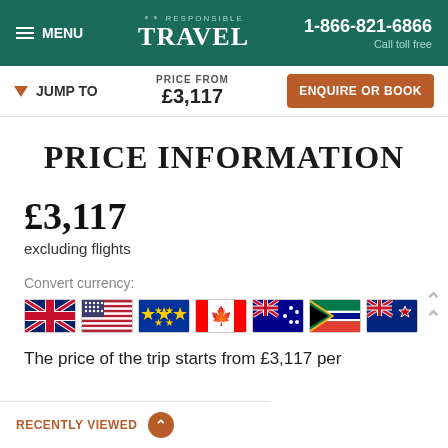MENU | RESPONSIBLE TRAVEL | 1-866-821-6866 Call toll free
JUMP TO | PRICE FROM £3,117 | ENQUIRE OR BOOK
PRICE INFORMATION
£3,117
excluding flights
Convert currency:
[Figure (illustration): Row of country flag icons: UK, USA, EU, Canada, Australia, South Africa, New Zealand]
The price of the trip starts from £3,117 per
RECENTLY VIEWED